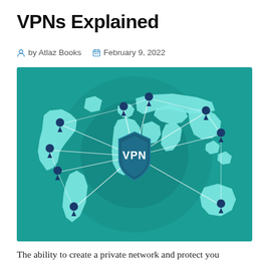VPNs Explained
by Atlaz Books   February 9, 2022
[Figure (illustration): Illustration of a world map on a teal background with location pins connected by lines to a central VPN shield icon in the middle. The shield displays the text 'VPN' in white bold letters.]
The ability to create a private network and protect you